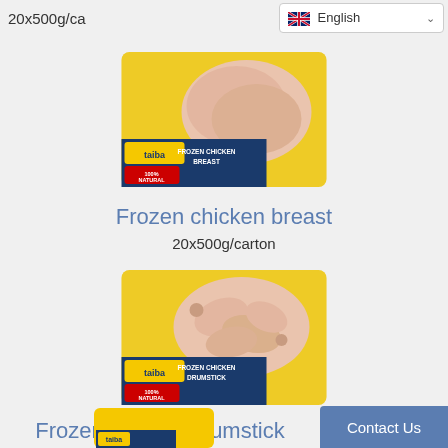20x500g/ca    English
[Figure (photo): Taiba brand frozen chicken breast package, yellow tray with blue label saying FROZEN CHICKEN BREAST, 100% NATURAL]
Frozen chicken breast
20x500g/carton
[Figure (photo): Taiba brand frozen chicken drumstick package, yellow tray with blue label saying FROZEN CHICKEN DRUMSTICK, 100% NATURAL]
Frozen chicken drumstick
20x500g/carton
[Figure (photo): Taiba brand frozen chicken product, partial view at bottom of page]
Contact Us